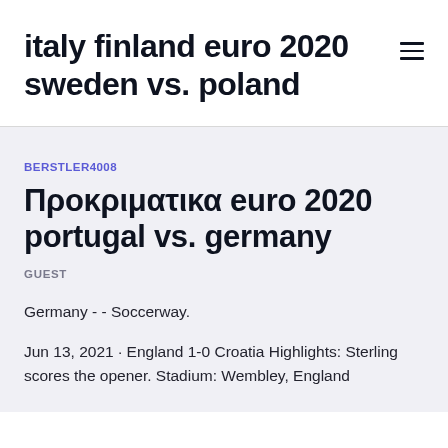italy finland euro 2020 sweden vs. poland
BERSTLER4008
Προκριματικα euro 2020 portugal vs. germany
GUEST
Germany - - Soccerway.
Jun 13, 2021 · England 1-0 Croatia Highlights: Sterling scores the opener. Stadium: Wembley, England